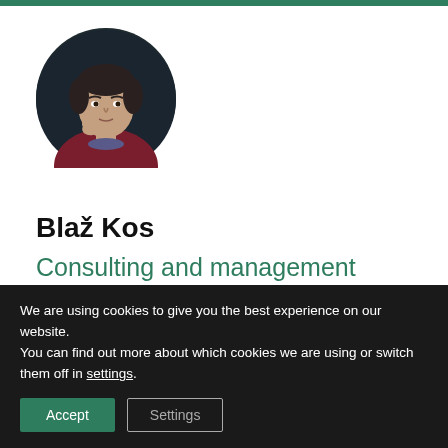[Figure (photo): Circular profile photo of a man in a dark red sweater with short dark hair, resting his hand near his chin, against a dark background.]
Blaž Kos
Consulting and management coaching
Blaž Kos has managed venture capital investments
We are using cookies to give you the best experience on our website.
You can find out more about which cookies we are using or switch them off in settings.